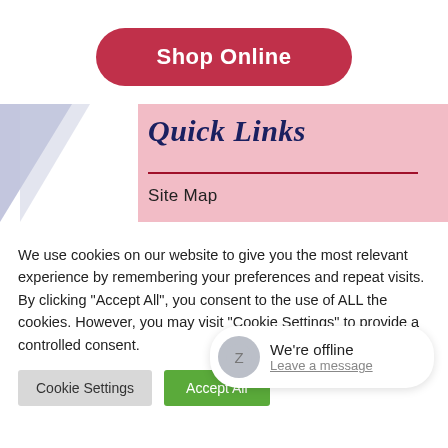Shop Online
[Figure (illustration): Decorative banner with lavender triangle shape on the left and pink rectangle on the right, containing Quick Links heading and Site Map link.]
Quick Links
Site Map
We use cookies on our website to give you the most relevant experience by remembering your preferences and repeat visits. By clicking "Accept All", you consent to the use of ALL the cookies. However, you may visit "Cookie Settings" to provide a controlled consent.
Cookie Settings
Accept All
We're offline
Leave a message